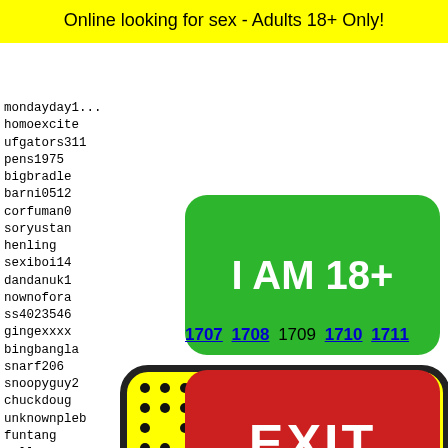Online looking for sex - Adults 18+ Only!
mondayday1...
homoexcite
ufgators311
pens1975
bigbradle
barni0512
corfuman0
soryustan
henling
sexiboi14
dandanuk1
nownofora
ss4023546
gingexxxx
bingbangla
snarf206
snoopyguy2
chuckdoug
unknownpleb
funtang
goller
mr_cum
the_gr
sgig32
cumet1
coreyc
[Figure (other): Green button with text I AM 18+]
[Figure (other): Red EXIT button]
1707 1708 1709 1710 1711
[Figure (illustration): Yellow padel/racket with black dots and a character face at the bottom]